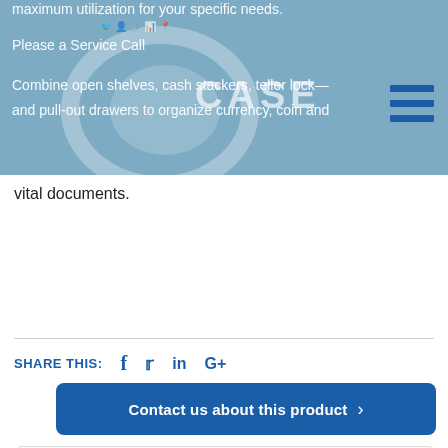[Figure (screenshot): Website header banner with CASE logo, navigation icons, and descriptive text about open shelves, stackers, teller locks, and pull-out drawers]
vital documents.
SHARE THIS:   f   in   G+
Contact us about this product  >
[Figure (photo): Black metal teller cabinet with open door showing interior shelves and pull-out drawers]